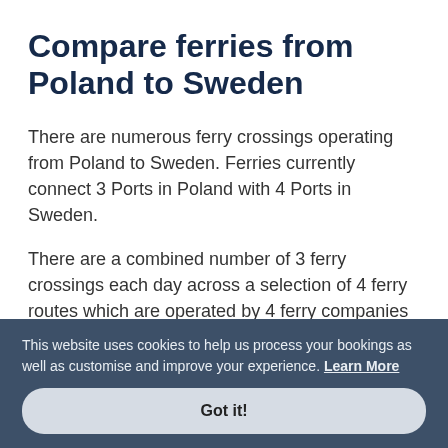Compare ferries from Poland to Sweden
There are numerous ferry crossings operating from Poland to Sweden. Ferries currently connect 3 Ports in Poland with 4 Ports in Sweden.
There are a combined number of 3 ferry crossings each day across a selection of 4 ferry routes which are operated by 4 ferry companies including Stena Line, Polferries, Unity Line & TT Line with the shortest crossing taking around 5 hours 45 minutes (Trelleborg).
This website uses cookies to help us process your bookings as well as customise and improve your experience. Learn More
Got it!